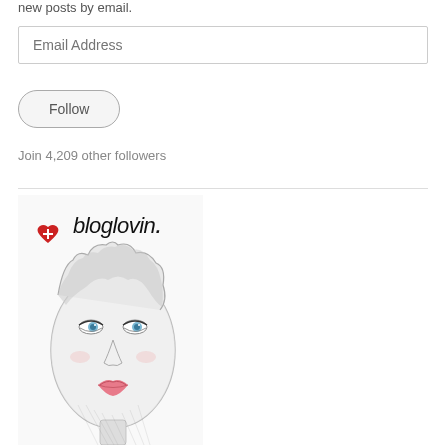new posts by email.
Email Address
Follow
Join 4,209 other followers
[Figure (illustration): Bloglovin logo image with a hand-drawn fashion illustration of a woman's face with blue eyes, pink lips, and stylized hair. A red heart with a cross is in the upper left, with 'bloglovin.' text written in a casual handwritten font above the portrait.]